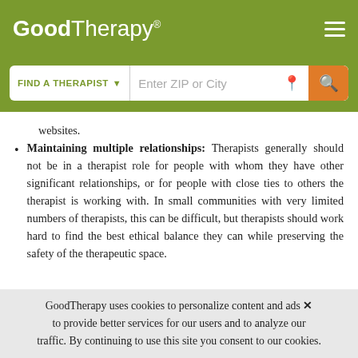GoodTherapy®
websites.
Maintaining multiple relationships: Therapists generally should not be in a therapist role for people with whom they have other significant relationships, or for people with close ties to others the therapist is working with. In small communities with very limited numbers of therapists, this can be difficult, but therapists should work hard to find the best ethical balance they can while preserving the safety of the therapeutic space.
Any sexual innuendo, requests, pressure, or behavior:
GoodTherapy uses cookies to personalize content and ads to provide better services for our users and to analyze our traffic. By continuing to use this site you consent to our cookies.